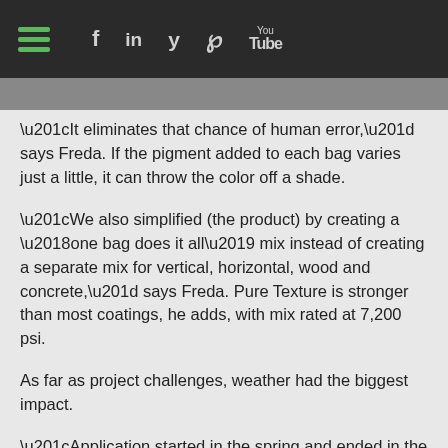[hamburger menu] f in y p [YouTube icon]
“It eliminates that chance of human error,” says Freda. If the pigment added to each bag varies just a little, it can throw the color off a shade.
“We also simplified (the product) by creating a ‘one bag does it all’ mix instead of creating a separate mix for vertical, horizontal, wood and concrete,” says Freda. Pure Texture is stronger than most coatings, he adds, with mix rated at 7,200 psi.
As far as project challenges, weather had the biggest impact.
“Application started in the spring and ended in the winter,” says Freda. “Temperature and humidity were a huge factor” mainly because the HVAC system wasn't completely installed. “Adjustments were constantly being made to the amounts of liquids to ensure that dry time and adhesion were kept constant.”